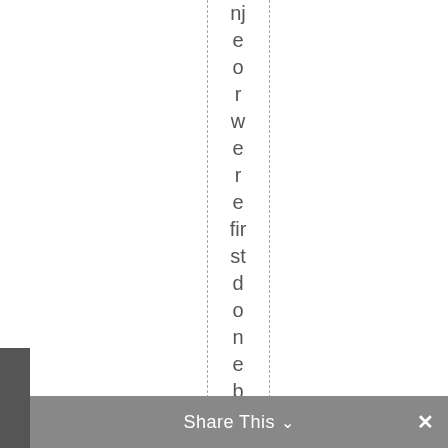njeorowsere first done by artist Pedro
Share This ∨  ×